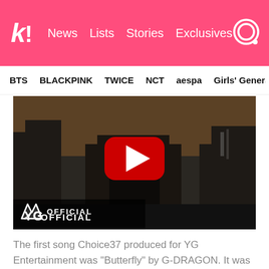k! News Lists Stories Exclusives
BTS BLACKPINK TWICE NCT aespa Girls' Generation
[Figure (screenshot): YouTube video thumbnail showing a dark cityscape/rooftop scene with a red YouTube play button overlay. Bottom left shows YG logo and 'OFFICIAL' text in white on dark background.]
The first song Choice37 produced for YG Entertainment was “Butterfly” by G-DRAGON. It was a B-Side track in the album Heartbreaker.
3. Lee Hi – “1, 2, 3, 4”
[Figure (screenshot): Partial view of another video thumbnail, dark background.]